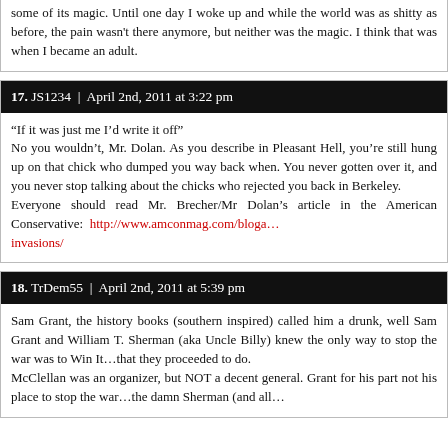some of its magic. Until one day I woke up and while the wo... as shitty as before, the pain wasn't there anymore, but neith... magic. I think that was when I became an adult.
17. JS1234 | April 2nd, 2011 at 3:22 pm
“If it was just me I’d write it off”
No you wouldn't, Mr. Dolan. As you describe in Pleasant Hell,
hung up on that chick who dumped you way back when. Y...
gotten over it, and you never stop talking about the chicks w...
you back in Berkeley.
Everyone should read Mr. Brecher/Mr Dolan's article in
American Conservative: http://www.amconmag.com/bloga...
invasions/
18. TrDem55 | April 2nd, 2011 at 5:39 pm
Sam Grant, the history books (southern inspired) called him...
well Sam Grant and William T. Sherman (aka Uncle Billy) kne...
way to stop the war was to Win It...that they proceeded to do.
McClellan was an organizer, but NOT a decent general. Grant f...